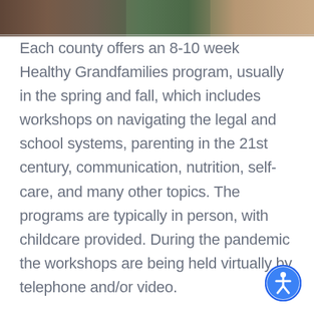[Figure (photo): Partial photo strip at top of page showing people, cropped]
Each county offers an 8-10 week Healthy Grandfamilies program, usually in the spring and fall, which includes workshops on navigating the legal and school systems, parenting in the 21st century, communication, nutrition, self-care, and many other topics. The programs are typically in person, with childcare provided. During the pandemic the workshops are being held virtually by telephone and/or video.
[Figure (other): Accessibility icon (wheelchair/person symbol) in blue circle at bottom right]